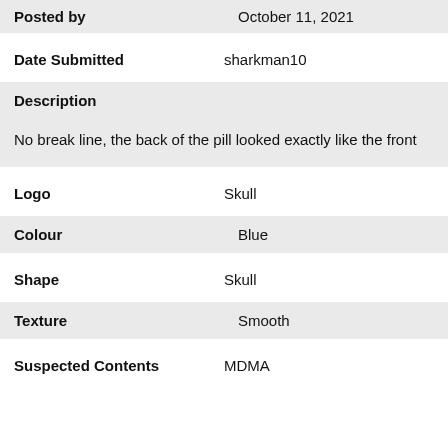| Posted by | October 11, 2021 |
| Date Submitted | sharkman10 |
| Description | No break line, the back of the pill looked exactly like the front |
| Logo | Skull |
| Colour | Blue |
| Shape | Skull |
| Texture | Smooth |
| Suspected Contents | MDMA |